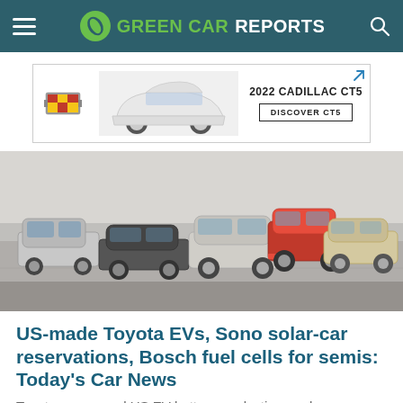GREEN CAR REPORTS
[Figure (other): Cadillac CT5 advertisement banner showing a white Cadillac CT5 sedan with Cadillac logo, text '2022 CADILLAC CT5' and 'DISCOVER CT5' button]
[Figure (photo): Multiple Toyota EV concept cars parked on a flat surface, shown from an elevated perspective. Cars include silver, dark gray, red, and light-colored models.]
US-made Toyota EVs, Sono solar-car reservations, Bosch fuel cells for semis: Today's Car News
Toyota announced US EV battery production, and